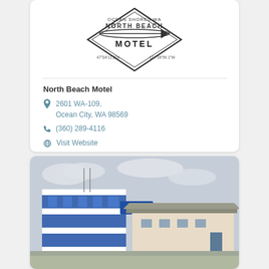[Figure (logo): North Beach Motel logo: diamond shape with surfboard, text 'NORTH BEACH MOTEL', coordinates 47°04'11.2"N 124°09'59.1"W]
North Beach Motel
2601 WA-109, Ocean City, WA 98569
(360) 289-4116
Visit Website
[Figure (photo): Exterior photo of a motel building with blue and white colors, multi-story, sign visible, overcast sky]